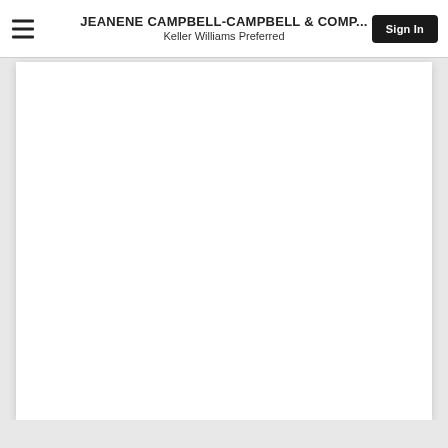JEANENE CAMPBELL-CAMPBELL & COMP... | Keller Williams Preferred | Sign In
[Figure (screenshot): Large white blank content area below the navigation header, representing the main page body with no visible content loaded.]